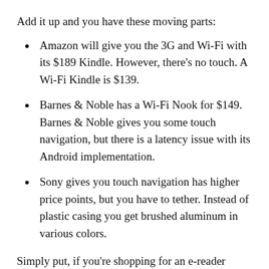Add it up and you have these moving parts:
Amazon will give you the 3G and Wi-Fi with its $189 Kindle. However, there's no touch. A Wi-Fi Kindle is $139.
Barnes & Noble has a Wi-Fi Nook for $149. Barnes & Noble gives you some touch navigation, but there is a latency issue with its Android implementation.
Sony gives you touch navigation has higher price points, but you have to tether. Instead of plastic casing you get brushed aluminum in various colors.
Simply put, if you're shopping for an e-reader Sony's devices will largely win or lose based on how